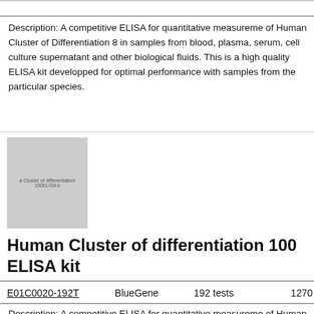Description: A competitive ELISA for quantitative measurement of Human Cluster of Differentiation 8 in samples from blood, plasma, serum, cell culture supernatant and other biological fluids. This is a high quality ELISA kit developped for optimal performance with samples from the particular species.
[Figure (photo): Product image of Cluster of differentiation 100ELISA kit]
Human Cluster of differentiation 100 ELISA kit
| E01C0020-192T | BlueGene | 192 tests | 1270 |
| --- | --- | --- | --- |
Description: A competitive ELISA for quantitative measurement of Human Cluster of differentiation 100 in samples from bloo...